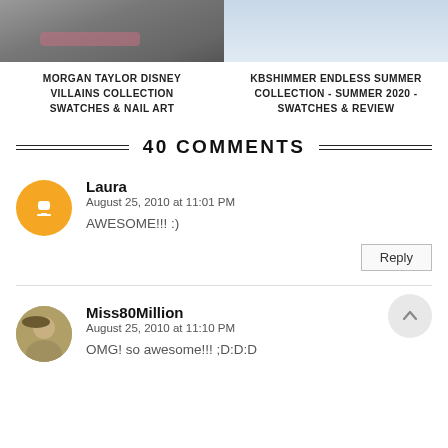[Figure (photo): Top portion of two article preview images: left shows a dark grainy texture with a pinkish element, right shows a light blue/white background]
MORGAN TAYLOR DISNEY VILLAINS COLLECTION SWATCHES & NAIL ART
KBSHIMMER ENDLESS SUMMER COLLECTION - SUMMER 2020 - SWATCHES & REVIEW
40 COMMENTS
Laura
August 25, 2010 at 11:01 PM
AWESOME!!! :)
Miss80Million
August 25, 2010 at 11:10 PM
OMG! so awesome!!! ;D:D:D